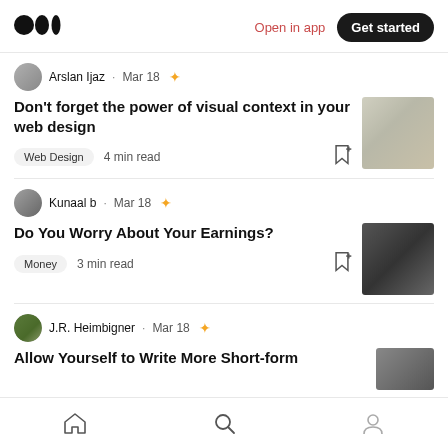Medium logo | Open in app | Get started
Arslan Ijaz · Mar 18 ★
Don't forget the power of visual context in your web design
Web Design   4 min read
Kunaal b · Mar 18 ★
Do You Worry About Your Earnings?
Money   3 min read
J.R. Heimbigner · Mar 18 ★
Allow Yourself to Write More Short-form